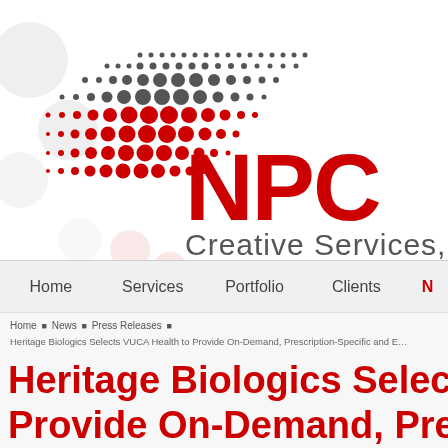[Figure (logo): NPC Creative Services LLC logo with decorative dot pattern in dark grey and red, large red NPC text and grey Creative Services LLC text]
Home   Services   Portfolio   Clients   N
Home » News » Press Releases »
Heritage Biologics Selects VUCA Health to Provide On-Demand, Prescription-Specific and E...
Heritage Biologics Selects V... Provide On-Demand, Presc... Educational Videos to Custo...
Posted in Press Releases on Tuesday, November 14, 2017.
VUCA Health announced today that Heritage Biologics, a provider of preeminer... nursing services, will implement VUCA's educational and informational video li...